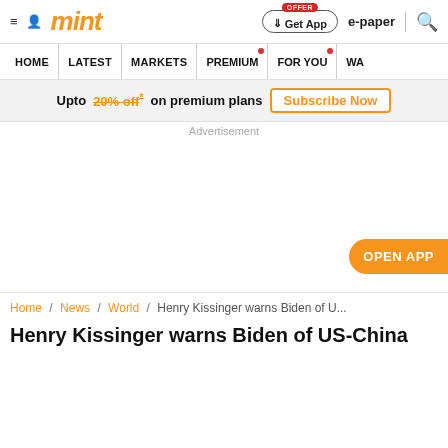mint
HOME | LATEST | MARKETS | PREMIUM | FOR YOU | WA
Upto 20% off* on premium plans   Subscribe Now
Advertisement
OPEN APP
Home / News / World / Henry Kissinger warns Biden of U...
Henry Kissinger warns Biden of US-China